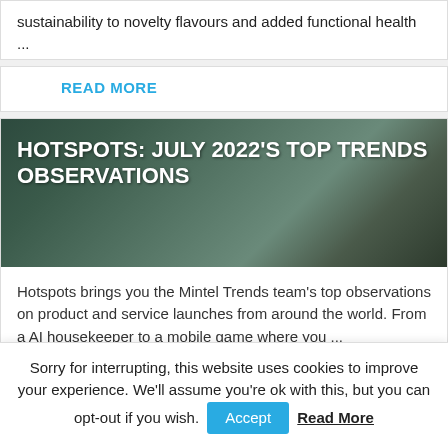sustainability to novelty flavours and added functional health ...
READ MORE
[Figure (photo): Dark green blurred background with white bold text: HOTSPOTS: JULY 2022'S TOP TRENDS OBSERVATIONS]
Hotspots brings you the Mintel Trends team's top observations on product and service launches from around the world. From a AI housekeeper to a mobile game where you ...
Sorry for interrupting, this website uses cookies to improve your experience. We'll assume you're ok with this, but you can opt-out if you wish. Accept Read More